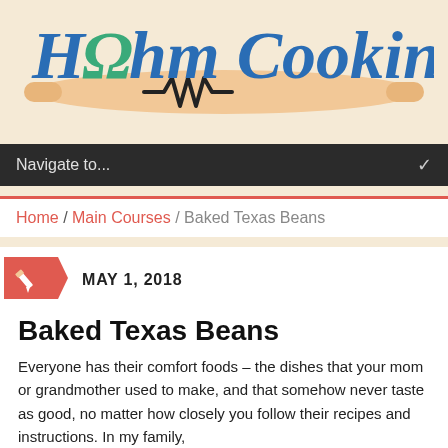[Figure (logo): HΩhm Cooking logo with rolling pin and resistor symbol. Text is in blue italic serif font with a green omega symbol. Below the text is a peach/tan rolling pin with a black resistor zigzag symbol in the center.]
Navigate to...
Home / Main Courses / Baked Texas Beans
MAY 1, 2018
Baked Texas Beans
Everyone has their comfort foods – the dishes that your mom or grandmother used to make, and that somehow never taste as good, no matter how closely you follow their recipes and instructions. In my family,